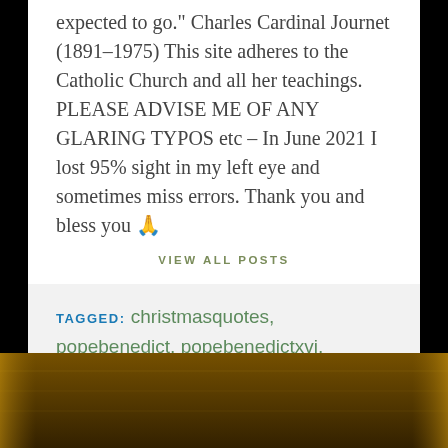expected to go." Charles Cardinal Journet (1891–1975) This site adheres to the Catholic Church and all her teachings. PLEASE ADVISE ME OF ANY GLARING TYPOS etc – In June 2021 I lost 95% sight in my left eye and sometimes miss errors. Thank you and bless you 🙏
VIEW ALL POSTS
TAGGED: christmasquotes, popebenedict, popebenedictxvi, popefrancis, stpetercanisius, stpopeleothegreat
Previous Post